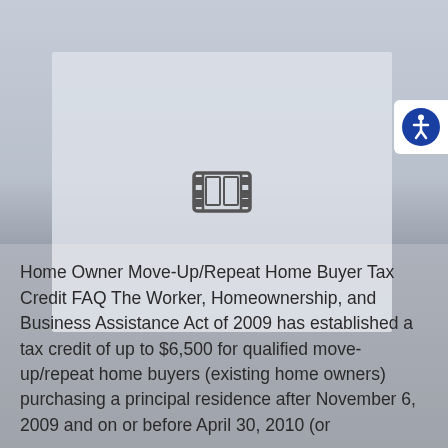[Figure (other): Video placeholder box with a film strip icon in the center, and an accessibility icon button in the top-right corner]
Home Owner Move-Up/Repeat Home Buyer Tax Credit FAQ The Worker, Homeownership, and Business Assistance Act of 2009 has established a tax credit of up to $6,500 for qualified move-up/repeat home buyers (existing home owners) purchasing a principal residence after November 6, 2009 and on or before April 30, 2010 (or